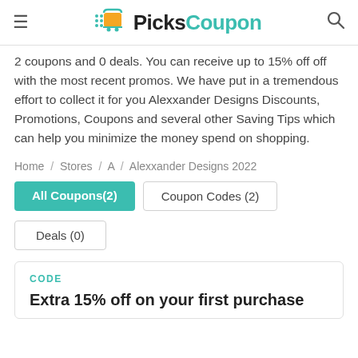PicksCoupon
2 coupons and 0 deals. You can receive up to 15% off off with the most recent promos. We have put in a tremendous effort to collect it for you Alexxander Designs Discounts, Promotions, Coupons and several other Saving Tips which can help you minimize the money spend on shopping.
Home / Stores / A / Alexxander Designs 2022
All Coupons(2)   Coupon Codes (2)   Deals (0)
CODE
Extra 15% off on your first purchase